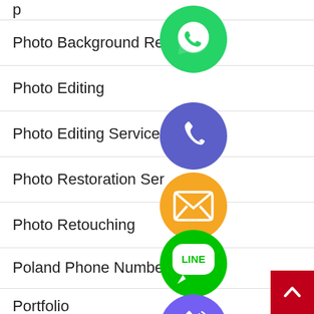Photo Background Re…
Photo Editing
Photo Editing Services
Photo Restoration Ser…
Photo Retouching
Poland Phone Number
Portfolio
Portugal Phone Number
[Figure (screenshot): Column of social media contact icons (WhatsApp green, Phone blue-purple, Email orange, LINE green, Viber purple, close/X green) overlapping a navigation list of photo editing and phone number category links, with a red scroll-to-top button in the bottom right.]